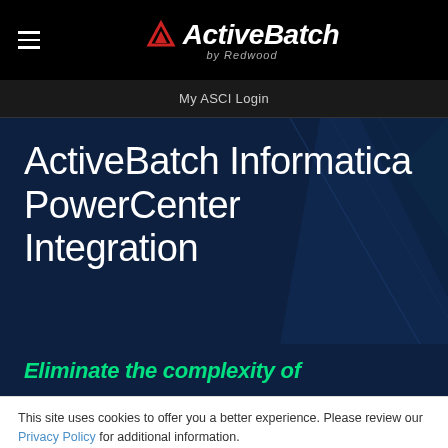[Figure (logo): ActiveBatch by Redwood logo with hamburger menu icon on black navigation bar]
My ASCI Login
ActiveBatch Informatica PowerCenter Integration
Eliminate the complexity of
This site uses cookies to offer you a better experience. Please review our Privacy Policy for additional information.
Accept